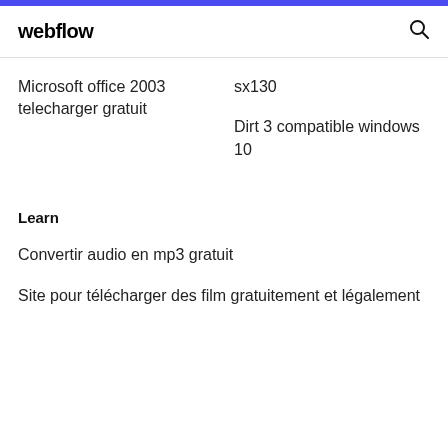webflow
Microsoft office 2003 telecharger gratuit
sx130
Dirt 3 compatible windows 10
Learn
Convertir audio en mp3 gratuit
Site pour télécharger des film gratuitement et légalement